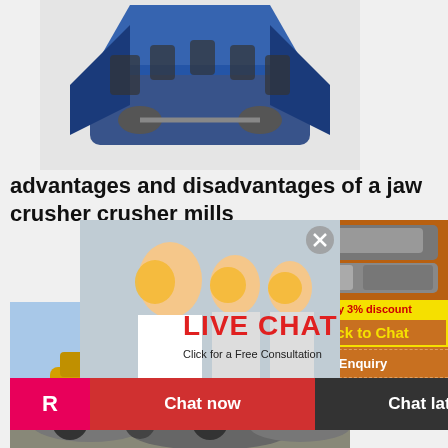[Figure (photo): Blue jaw crusher machine on white/grey background]
advantages and disadvantages of a jaw crusher crusher mills
[Figure (photo): Live chat popup with workers in yellow hard hats, showing LIVE CHAT and Click for a Free Consultation text, with Chat now and Chat later buttons]
[Figure (photo): Sidebar with orange background showing crusher machine images, Enjoy 3% discount, Click to Chat, Enquiry, limingjlmofen@sina.com]
[Figure (photo): Yellow mining crusher machine operating outdoors on gravel/rocks]